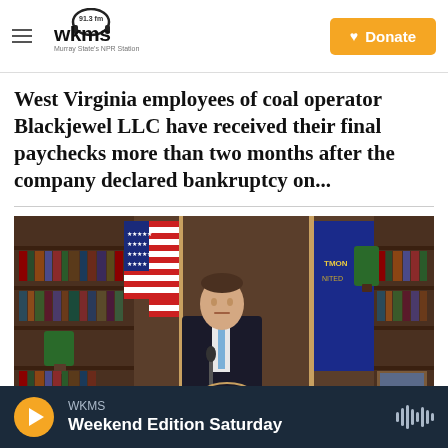WKMS 91.3 fm — Murray State's NPR Station | Donate
West Virginia employees of coal operator Blackjewel LLC have received their final paychecks more than two months after the company declared bankruptcy on...
[Figure (photo): A man in a dark suit speaking at a podium bearing the Commonwealth of Kentucky seal, with an American flag and Kentucky state flag behind him, and bookshelves in the background.]
WKMS — Weekend Edition Saturday